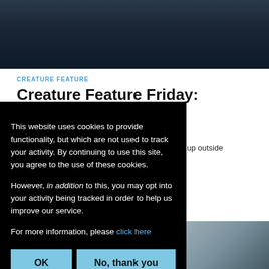[Figure (photo): Dark moody hero image with shadowy trees or figures against a dark background]
CREATURE FEATURE
Creature Feature Friday: Contemplative
May 25, 2018  -  by nwright
Your brain is something that really shouldn't end up outside… ives a visible… g medical
This website uses cookies to provide functionality, but which are not used to track your activity. By continuing to use this site, you agree to the use of these cookies.

However, in addition to this, you may opt into your activity being tracked in order to help us improve our service.

For more information, please click here
[Figure (photo): Dark atmospheric image with hand silhouette visible]